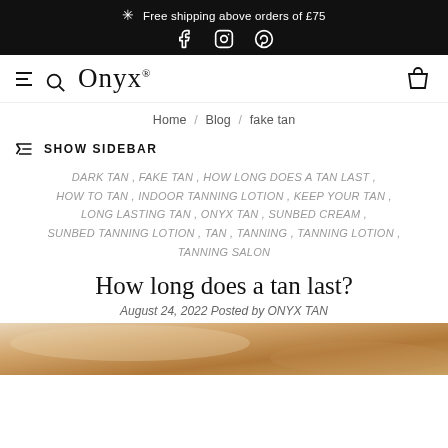✳ Free shipping above orders of £75
Onyx — navigation bar with menu, search, logo, and shopping bag icons
Home / Blog / fake tan
SHOW SIDEBAR
DARK TAN , FAKE TAN , HOW LONG DOES A TAN LAST , HOW TO TAN , INDOOR TANNING LOTION , KEEP YOUR TAN , LONG LASTING TAN , ONYX TAN , SUNBED CREAM , SUNBED TANNING LOTION , TAN , TANNING , TANNING LOTION , TANNING SALON
How long does a tan last?
August 24, 2022 Posted by ONYX TAN
[Figure (photo): Close-up photo of tanned skin/body, warm sandy tones]